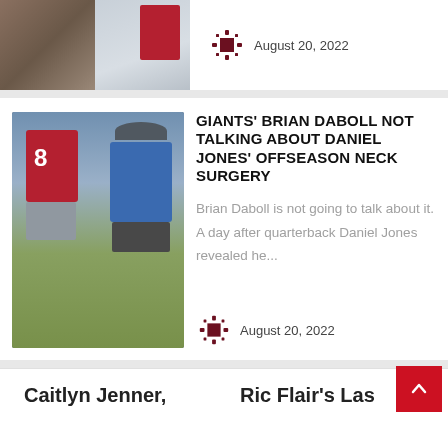[Figure (photo): Two partial images side by side at top of card, and a date with virus/covid icon]
August 20, 2022
[Figure (photo): Football practice photo showing player wearing #8 jersey (red) talking with coach in blue shirt and hat]
GIANTS' BRIAN DABOLL NOT TALKING ABOUT DANIEL JONES' OFFSEASON NECK SURGERY
Brian Daboll is not going to talk about it. A day after quarterback Daniel Jones revealed he...
August 20, 2022
Caitlyn Jenner,
Ric Flair's Last